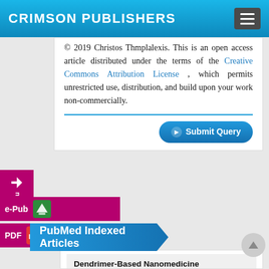CRIMSON PUBLISHERS
© 2019 Christos Thmplalexis. This is an open access article distributed under the terms of the Creative Commons Attribution License , which permits unrestricted use, distribution, and build upon your work non-commercially.
[Figure (screenshot): Submit Query button]
[Figure (screenshot): e-Pub and PDF sidebar buttons with icons]
PubMed Indexed Articles
Dendrimer-Based Nanomedicine (Paramagnetic Nanoparticle,